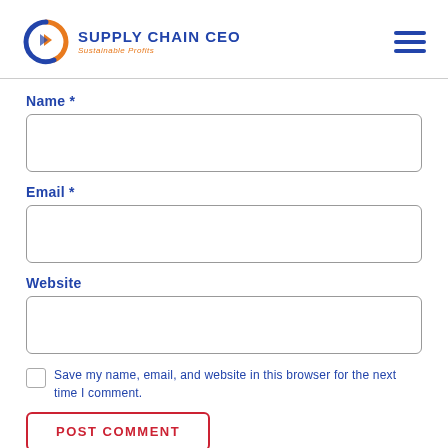SUPPLY CHAIN CEO — Sustainable Profits
Name *
[Figure (other): Text input field for Name]
Email *
[Figure (other): Text input field for Email]
Website
[Figure (other): Text input field for Website]
Save my name, email, and website in this browser for the next time I comment.
POST COMMENT